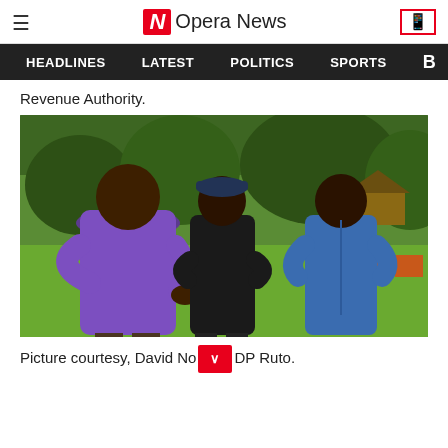Opera News
HEADLINES  LATEST  POLITICS  SPORTS
Revenue Authority.
[Figure (photo): Three men standing outdoors on grass with trees in background. Left man wearing purple shirt, center man in black, right man in blue denim shirt.]
Picture courtesy, David No[chevron]DP Ruto.